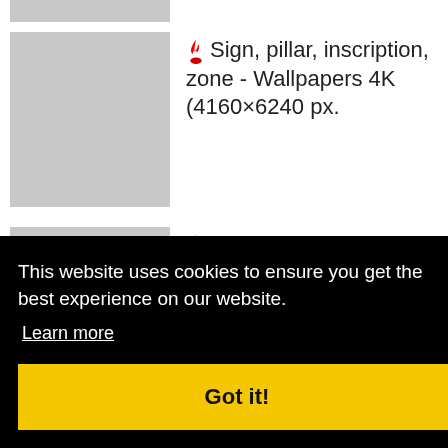[Figure (screenshot): Partial grey thumbnail image at top of page (cropped)]
🔥 Sign, pillar, inscription, zone - Wallpapers 4K (4160×6240 px.
🔥 Ferrari, 488, spider, yellow, side view - Wallpapers HD
CATEGORY
This website uses cookies to ensure you get the best experience on our website.
Learn more
Got it!